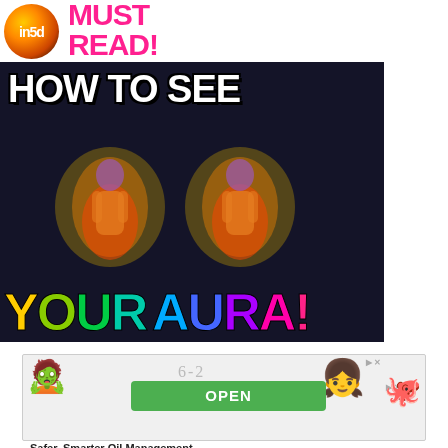[Figure (logo): in5d circular logo with orange/gold flame design on dark background]
MUST READ!
[Figure (illustration): Dark background image with text 'HOW TO SEE' in white bold letters and 'YOUR AURA!' in rainbow colored letters, featuring two glowing human silhouettes with colorful aura energy fields]
[Figure (screenshot): Advertisement banner showing a game app with green OPEN button, monster character, game score 6-2, and child face]
Safer, Smarter Oil Management
Ad